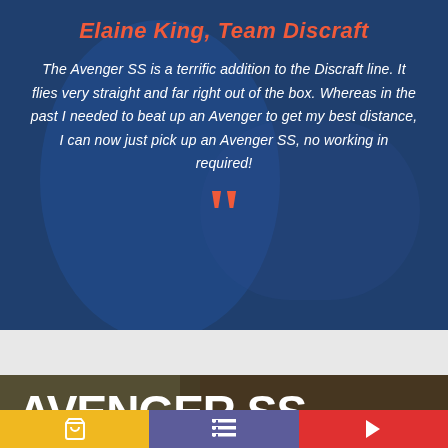Elaine King, Team Discraft
The Avenger SS is a terrific addition to the Discraft line. It flies very straight and far right out of the box. Whereas in the past I needed to beat up an Avenger to get my best distance, I can now just pick up an Avenger SS, no working in required!
[Figure (other): Background photo of a person throwing a disc, with a Discraft disc visible]
Avenger SS
[Figure (other): Shopping cart icon button on yellow background]
[Figure (other): List/menu icon button on purple background]
[Figure (other): Play/video icon button on red background]